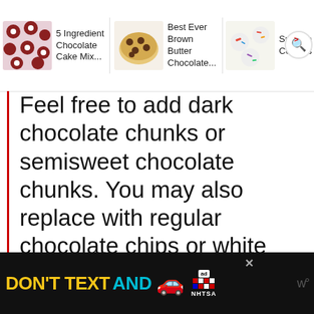5 Ingredient Chocolate Cake Mix... | Best Ever Brown Butter Chocolate... | Sprinkle Cookies
Feel free to add dark chocolate chunks or semisweet chocolate chunks. You may also replace with regular chocolate chips or white chocolate chips (although, for the white chocolate I would omit the salt).
Originally published June 14, 2016
NUTRITIONAL INFORMATION
Calories: 360... | Carbohydrates: 34...
[Figure (screenshot): Advertisement banner: DON'T TEXT AND [car emoji] with NHTSA branding]